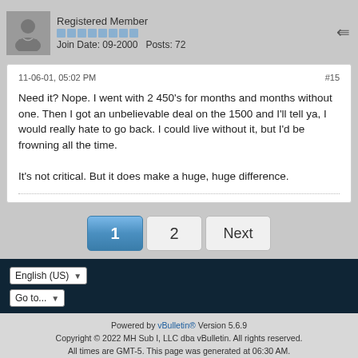Registered Member
Join Date: 09-2000   Posts: 72
11-06-01, 05:02 PM
#15
Need it? Nope. I went with 2 450's for months and months without one. Then I got an unbelievable deal on the 1500 and I'll tell ya, I would really hate to go back. I could live without it, but I'd be frowning all the time.

It's not critical. But it does make a huge, huge difference.
1  2  Next
Powered by vBulletin® Version 5.6.9
Copyright © 2022 MH Sub I, LLC dba vBulletin. All rights reserved.
All times are GMT-5. This page was generated at 06:30 AM.